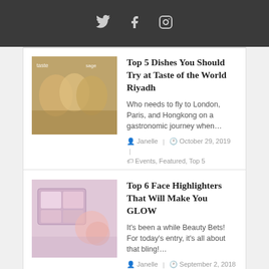[Figure (illustration): Dark top bar with Twitter, Facebook, and Instagram social media icons in gray]
[Figure (photo): Thumbnail photo of people at Taste of the World Riyadh event]
Top 5 Dishes You Should Try at Taste of the World Riyadh
Who needs to fly to London, Paris, and Hongkong on a gastronomic journey when…
Janelle | October 29, 2019 | Events, Featured, Top 5
[Figure (photo): Thumbnail photo of face highlighter makeup palettes]
Top 6 Face Highlighters That Will Make You GLOW
It's been a while Beauty Bets! For today's entry, it's all about that bling!…
Janelle | September 2, 2018 | Beauty, Features, Product Reviews, Top 5
BEAUTY ENTRIES